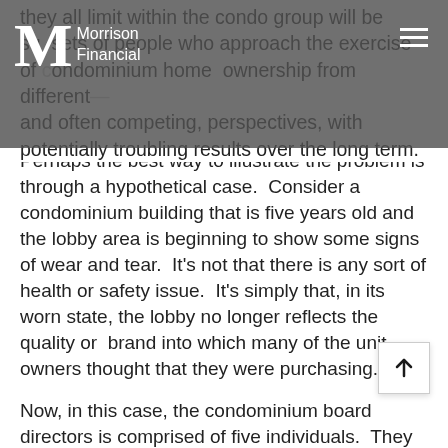Morrison Financial
they all limit within the condo group will be subsets of people who approach the exercise of condominium home ownership from different and often competing, perspectives, with potentially troubling results over the long term.
Perhaps the best way to illustrate the problem is through a hypothetical case. Consider a condominium building that is five years old and the lobby area is beginning to show some signs of wear and tear. It's not that there is any sort of health or safety issue. It's simply that, in its worn state, the lobby no longer reflects the quality or brand into which many of the unit-owners thought that they were purchasing.
Now, in this case, the condominium board directors is comprised of five individuals. They are trying to decide whether the corporation should incur the expense of refurbishing the